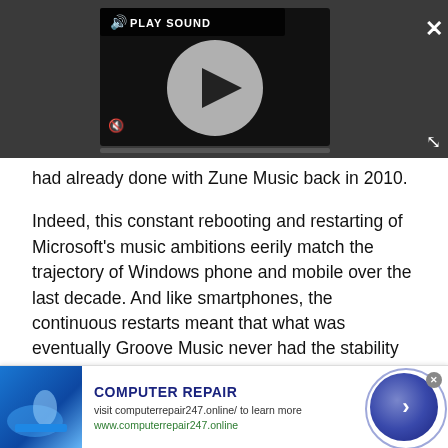[Figure (screenshot): Video player overlay on dark gray background showing a media player with play button, sound icon, PLAY SOUND label, mute button, close X button, expand icon, and progress bar.]
had already done with Zune Music back in 2010.
Indeed, this constant rebooting and restarting of Microsoft's music ambitions eerily match the trajectory of Windows phone and mobile over the last decade. And like smartphones, the continuous restarts meant that what was eventually Groove Music never had the stability to mature and grow.
This punctuated development cycle let companies like Spotify walk in and with a focused mission own the
[Figure (screenshot): Advertisement banner for COMPUTER REPAIR showing a hand touching a keyboard image, text 'visit computerrepair247.online/ to learn more', URL 'www.computerrepair247.online', and a blue circular arrow button.]